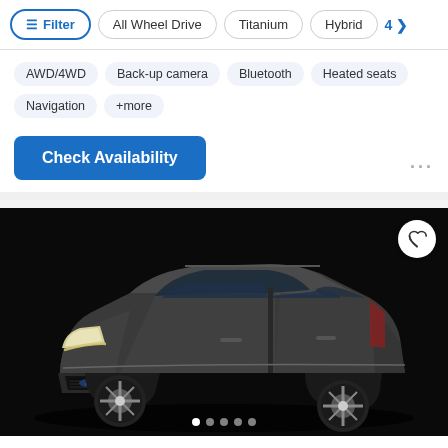Filter | All Wheel Drive | Titanium | Hybrid | 4 >
AWD/4WD   Back-up camera   Bluetooth   Heated seats
Navigation   +more
Check Availability
[Figure (photo): 2022 Ford Escape dark gray SUV on black background, front three-quarter view]
2022 Ford Escape   $38,810